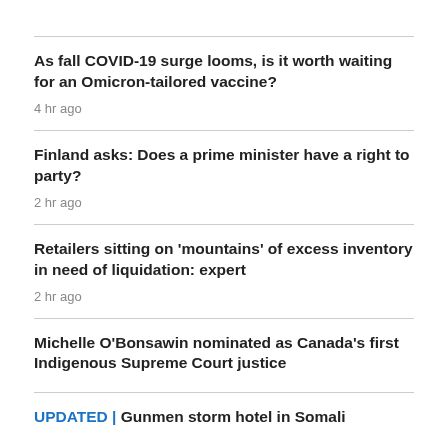As fall COVID-19 surge looms, is it worth waiting for an Omicron-tailored vaccine?
4 hr ago
Finland asks: Does a prime minister have a right to party?
2 hr ago
Retailers sitting on 'mountains' of excess inventory in need of liquidation: expert
2 hr ago
Michelle O'Bonsawin nominated as Canada's first Indigenous Supreme Court justice
UPDATED | Gunmen storm hotel in Somali